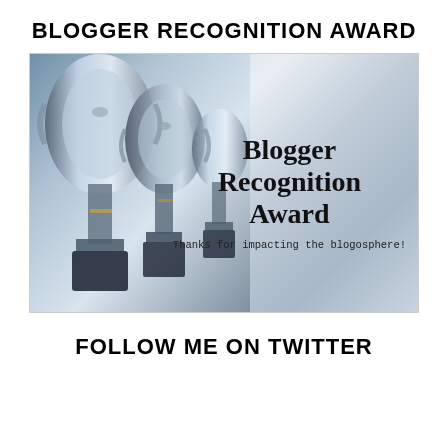BLOGGER RECOGNITION AWARD
[Figure (photo): Photo of multiple silver trophies lined up, with text overlay reading 'Blogger Recognition Award' and 'Thanks for impacting the blogosphere!']
FOLLOW ME ON TWITTER